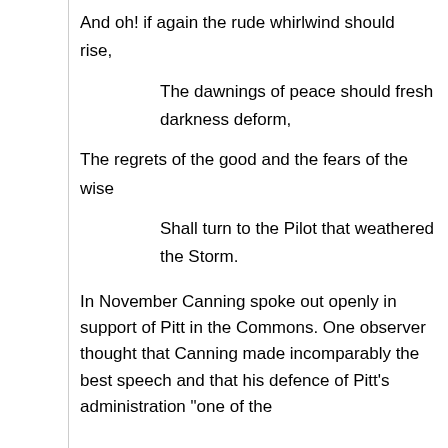And oh! if again the rude whirlwind should rise,
The dawnings of peace should fresh darkness deform,
The regrets of the good and the fears of the wise
Shall turn to the Pilot that weathered the Storm.
In November Canning spoke out openly in support of Pitt in the Commons. One observer thought that Canning made incomparably the best speech and that his defence of Pitt's administration "one of the